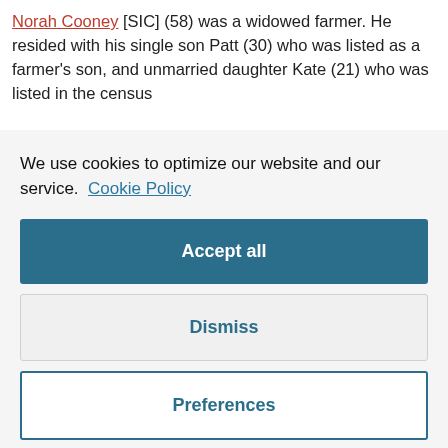Norah Cooney [SIC] (58) was a widowed farmer. He resided with his single son Patt (30) who was listed as a farmer's son, and unmarried daughter Kate (21) who was listed in the census
We use cookies to optimize our website and our service. Cookie Policy
Accept all
Dismiss
Preferences
English only. The 10 inhabitants lived in a 2-roomed, 2nd class